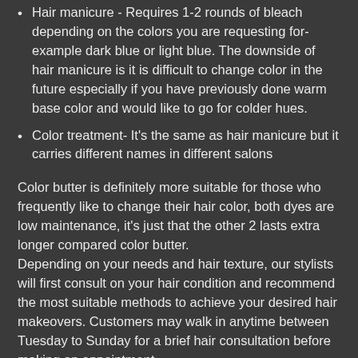Hair manicure - Requires 1-2 rounds of bleach depending on the colors you are requesting for-example dark blue or light blue. The downside of hair manicure is it is difficult to change color in the future especially if you have previously done warm base color and would like to go for colder hues.
Color treatment- It's the same as hair manicure but it carries different names in different salons
Color butter is definitely more suitable for those who frequently like to change their hair color, both dyes are low maintenance, it's just that the other 2 lasts extra longer compared color butter.
Depending on your needs and hair texture, our stylists will first consult on your hair condition and recommend the most suitable methods to achieve your desired hair makeovers. Customers may walk in anytime between Tuesday to Sunday for a brief hair consultation before making an appointment